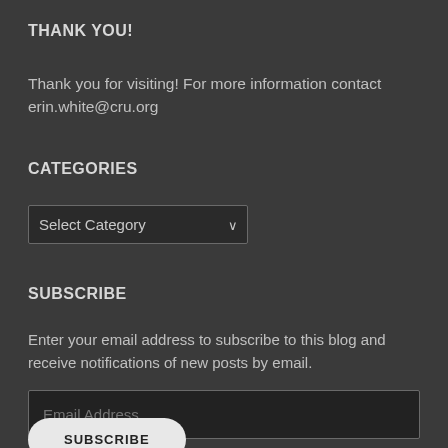THANK YOU!
Thank you for visiting! For more information contact erin.white@cru.org
CATEGORIES
[Figure (other): A dropdown select box with the label 'Select Category']
SUBSCRIBE
Enter your email address to subscribe to this blog and receive notifications of new posts by email.
[Figure (other): An email address input field with placeholder text 'Email Address']
[Figure (other): A subscribe button, partially visible at the bottom of the page]